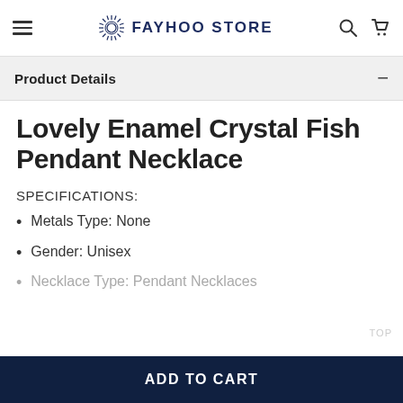FAYHOO STORE
Product Details
Lovely Enamel Crystal Fish Pendant Necklace
SPECIFICATIONS:
Metals Type: None
Gender: Unisex
Necklace Type: Pendant Necklaces
ADD TO CART